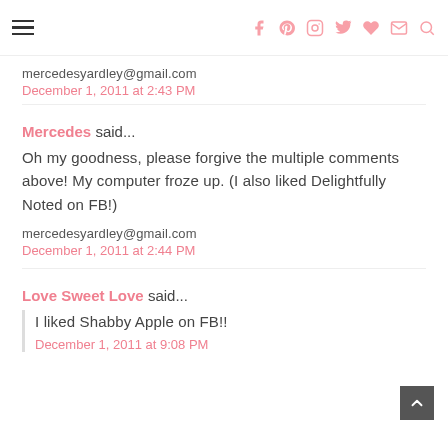Navigation bar with hamburger menu and social icons (Facebook, Pinterest, Instagram, Twitter, heart, mail, search)
mercedesyardley@gmail.com
December 1, 2011 at 2:43 PM
Mercedes said...
Oh my goodness, please forgive the multiple comments above! My computer froze up. (I also liked Delightfully Noted on FB!)
mercedesyardley@gmail.com
December 1, 2011 at 2:44 PM
Love Sweet Love said...
I liked Shabby Apple on FB!!
December 1, 2011 at 9:08 PM